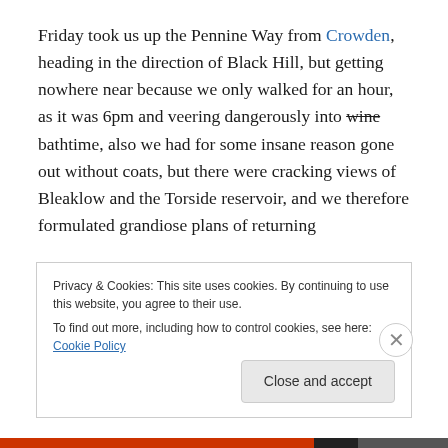Friday took us up the Pennine Way from Crowden, heading in the direction of Black Hill, but getting nowhere near because we only walked for an hour, as it was 6pm and veering dangerously into wine bathtime, also we had for some insane reason gone out without coats, but there were cracking views of Bleaklow and the Torside reservoir, and we therefore formulated grandiose plans of returning
Privacy & Cookies: This site uses cookies. By continuing to use this website, you agree to their use.
To find out more, including how to control cookies, see here: Cookie Policy